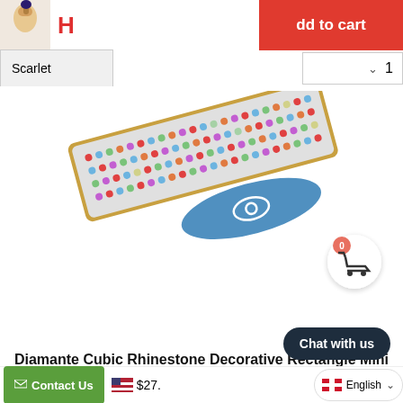[Figure (screenshot): E-commerce product page screenshot showing a rhinestone hair barrette clip with color selector, quantity, add to cart button, product title, chat widget, contact us button, price, and language selector.]
H
dd to cart
Scarlet
1
0
Diamante Cubic Rhinestone Decorative Rectangle Mini Hair Barrette Clips Accessories
Chat with us
Contact Us
$27.
English